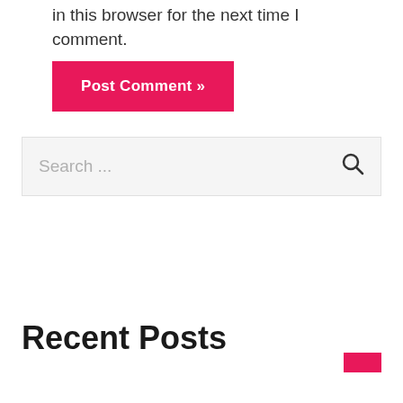in this browser for the next time I comment.
Post Comment »
Search ...
Recent Posts